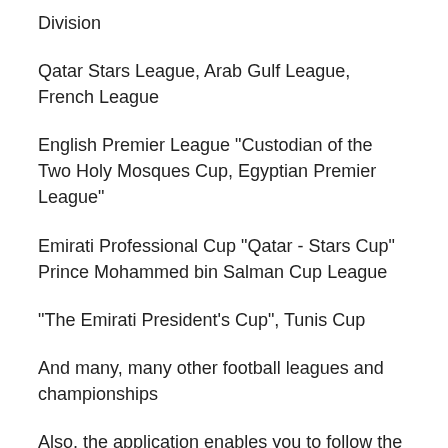Division
Qatar Stars League, Arab Gulf League, French League
English Premier League "Custodian of the Two Holy Mosques Cup, Egyptian Premier League"
Emirati Professional Cup "Qatar - Stars Cup" Prince Mohammed bin Salman Cup League
"The Emirati President's Cup", Tunis Cup
And many, many other football leagues and championships
Also, the application enables you to follow the latest Arabic and foreign films with Arabic subtitles
Only and exclusively on the application "TV | Arab World TV" a